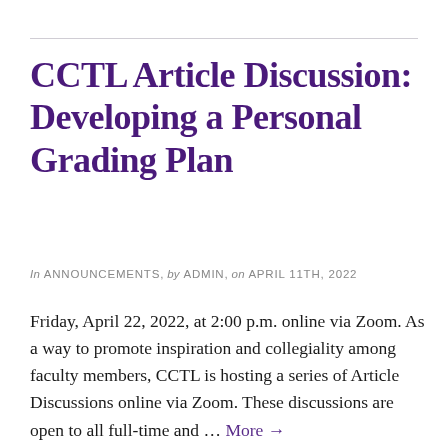CCTL Article Discussion: Developing a Personal Grading Plan
In ANNOUNCEMENTS, by ADMIN, on APRIL 11TH, 2022
Friday, April 22, 2022, at 2:00 p.m. online via Zoom. As a way to promote inspiration and collegiality among faculty members, CCTL is hosting a series of Article Discussions online via Zoom. These discussions are open to all full-time and … More →